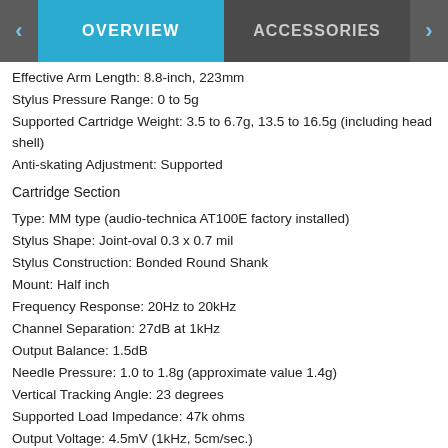OVERVIEW  ACCESSORIES
Effective Arm Length: 8.8-inch, 223mm
Stylus Pressure Range: 0 to 5g
Supported Cartridge Weight: 3.5 to 6.7g, 13.5 to 16.5g (including head shell)
Anti-skating Adjustment: Supported
Cartridge Section
Type: MM type (audio-technica AT100E factory installed)
Stylus Shape: Joint-oval 0.3 x 0.7 mil
Stylus Construction: Bonded Round Shank
Mount: Half inch
Frequency Response: 20Hz to 20kHz
Channel Separation: 27dB at 1kHz
Output Balance: 1.5dB
Needle Pressure: 1.0 to 1.8g (approximate value 1.4g)
Vertical Tracking Angle: 23 degrees
Supported Load Impedance: 47k ohms
Output Voltage: 4.5mV (1kHz, 5cm/sec.)
Cartridge Weight: 6.5g
Replacement Stylus: audio-technica AT100E
Phono Equalizer Amplifier